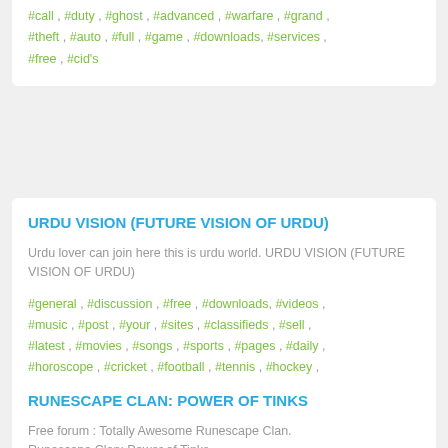#call , #duty , #ghost , #advanced , #warfare , #grand , #theft , #auto , #full , #game , #downloads , #services , #free , #cid's
URDU VISION (FUTURE VISION OF URDU)
Urdu lover can join here this is urdu world. URDU VISION (FUTURE VISION OF URDU)
#general , #discussion , #free , #downloads , #videos , #music , #post , #your , #sites , #classifieds , #sell , #latest , #movies , #songs , #sports , #pages , #daily , #horoscope , #cricket , #football , #tennis , #hockey , #racing
RUNESCAPE CLAN: POWER OF TINKS
Free forum : Totally Awesome Runescape Clan. Runescape Clan: Power of Tinks